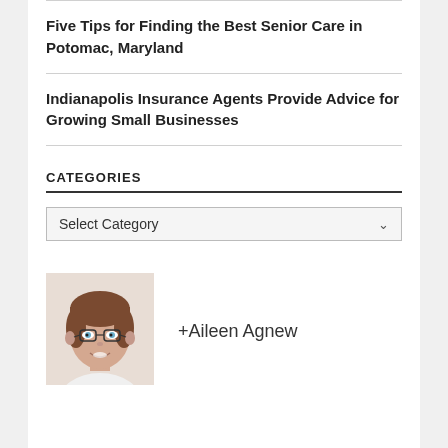Five Tips for Finding the Best Senior Care in Potomac, Maryland
Indianapolis Insurance Agents Provide Advice for Growing Small Businesses
CATEGORIES
Select Category
[Figure (photo): Headshot of a woman with short brown hair and glasses, smiling]
+Aileen Agnew